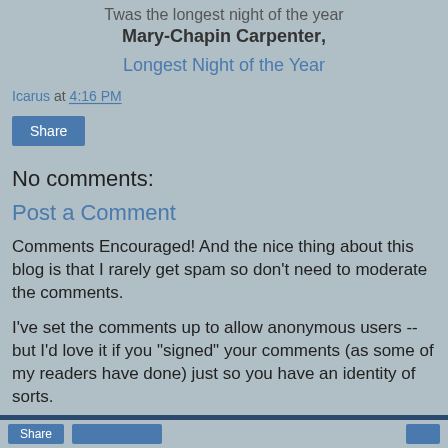Twas the longest night of the year Mary-Chapin Carpenter,
Longest Night of the Year
Icarus at 4:16 PM
Share
No comments:
Post a Comment
Comments Encouraged! And the nice thing about this blog is that I rarely get spam so don't need to moderate the comments.
I've set the comments up to allow anonymous users -- but I'd love it if you "signed" your comments (as some of my readers have done) just so you have an identity of sorts.